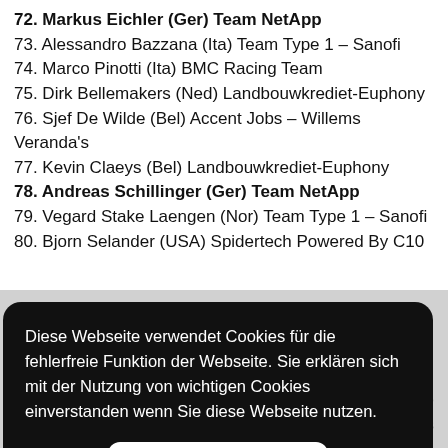72. Markus Eichler (Ger) Team NetApp
73. Alessandro Bazzana (Ita) Team Type 1 – Sanofi
74. Marco Pinotti (Ita) BMC Racing Team
75. Dirk Bellemakers (Ned) Landbouwkrediet-Euphony
76. Sjef De Wilde (Bel) Accent Jobs – Willems Veranda's
77. Kevin Claeys (Bel) Landbouwkrediet-Euphony
78. Andreas Schillinger (Ger) Team NetApp
79. Vegard Stake Laengen (Nor) Team Type 1 – Sanofi
80. Bjorn Selander (USA) Spidertech Powered By C10
Diese Webseite verwendet Cookies für die fehlerfreie Funktion der Webseite. Sie erklären sich mit der Nutzung von wichtigen Cookies einverstanden wenn Sie diese Webseite nutzen.
88. Arnoud Van Groen (Ned) Accent Jobs – Willems